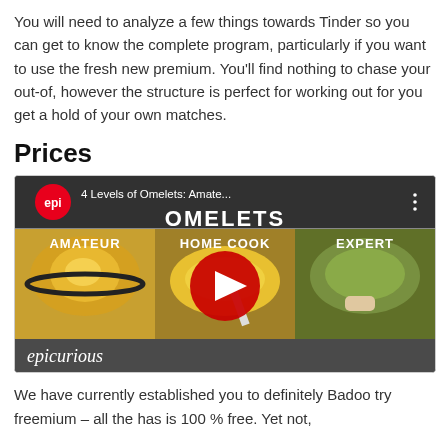You will need to analyze a few things towards Tinder so you can get to know the complete program, particularly if you want to use the fresh new premium. You'll find nothing to chase your out-of, however the structure is perfect for working out for you get a hold of your own matches.
Prices
[Figure (screenshot): YouTube video thumbnail showing '4 Levels of Omelets: Amate...' from Epicurious channel, with OMELETS title and three panels labeled AMATEUR, HOME COOK, EXPERT showing omelets cooking in pans. A red YouTube play button is centered on the thumbnail.]
We have currently established you to definitely Badoo try freemium – all the has is 100 % free. Yet not,